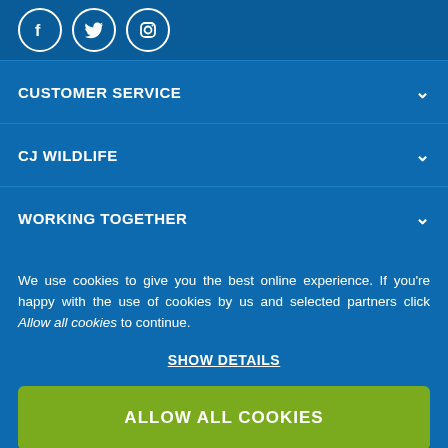[Figure (illustration): Social media icons: Facebook, Twitter, Instagram in white circles on blue background]
CUSTOMER SERVICE
CJ WILDLIFE
WORKING TOGETHER
We use cookies to give you the best online experience. If you're happy with the use of cookies by us and selected partners click Allow all cookies to continue.
SHOW DETAILS
ALLOW ALL COOKIES